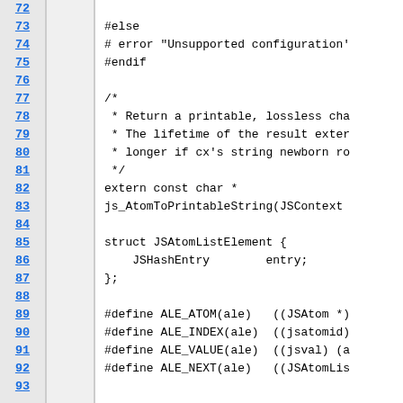[Figure (screenshot): Source code viewer showing C/C++ header file lines 72-93. Left column shows line numbers in blue underlined text on gray background. Middle column is empty gray. Right column shows code including #else, #error, #endif, a comment block about returning a printable lossless character representation, extern const char * js_AtomToPrintableString(JSContext...), struct JSAtomListElement with JSHashEntry entry, and #define macros for ALE_ATOM, ALE_INDEX, ALE_VALUE, ALE_NEXT.]